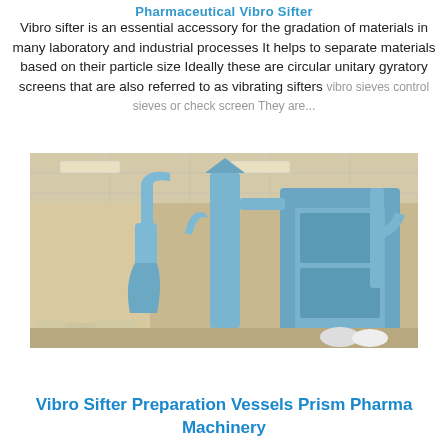Pharmaceutical Vibro Sifter
Vibro sifter is an essential accessory for the gradation of materials in many laboratory and industrial processes It helps to separate materials based on their particle size Ideally these are circular unitary gyratory screens that are also referred to as vibrating sifters vibro sieves control sieves or check screen They are...
[Figure (photo): Industrial vibro sifter machinery with blue-painted cyclone dust collectors and processing equipment in a factory/warehouse setting with bags of material on the floor.]
Vibro Sifter Preparation Vessels Prism Pharma Machinery